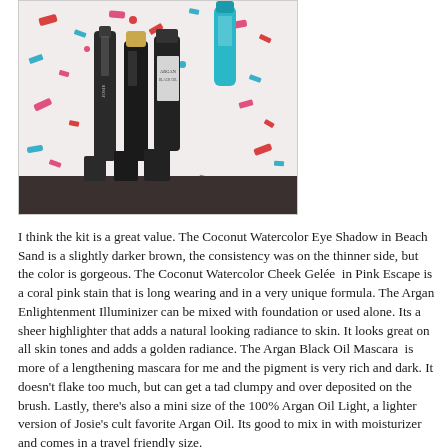[Figure (photo): Photo of several beauty/cosmetic product bottles and tubes arranged on a confetti-patterned surface with red, blue, and pink confetti pieces. Products include dark bottles and a teal/aqua tube visible in the upper right. A dark shelf or counter surface is at the bottom.]
I think the kit is a great value. The Coconut Watercolor Eye Shadow in Beach Sand is a slightly darker brown, the consistency was on the thinner side, but the color is gorgeous. The Coconut Watercolor Cheek Gelée  in Pink Escape is a coral pink stain that is long wearing and in a very unique formula. The Argan Enlightenment Illuminizer can be mixed with foundation or used alone. Its a sheer highlighter that adds a natural looking radiance to skin. It looks great on all skin tones and adds a golden radiance. The Argan Black Oil Mascara  is more of a lengthening mascara for me and the pigment is very rich and dark. It doesn't flake too much, but can get a tad clumpy and over deposited on the brush. Lastly, there's also a mini size of the 100% Argan Oil Light, a lighter version of Josie's cult favorite Argan Oil. Its good to mix in with moisturizer and comes in a travel friendly size.